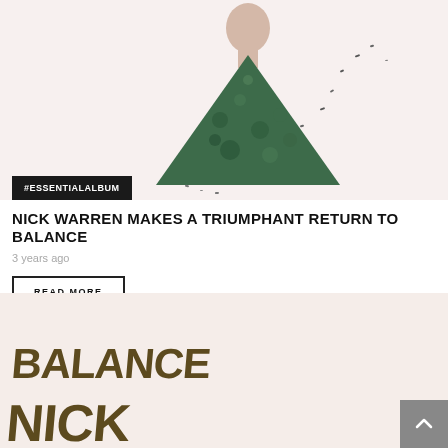[Figure (photo): Artistic promotional photo of Nick Warren with triangle/geometric nature overlay on light pink/cream background]
#ESSENTIALALBUM
NICK WARREN MAKES A TRIUMPHANT RETURN TO BALANCE
3 years ago
READ MORE
[Figure (photo): Promotional photo for Balance album featuring Nick Warren, with large text BALANCE NICK on left and a man's face/portrait on right, pink/cream background]